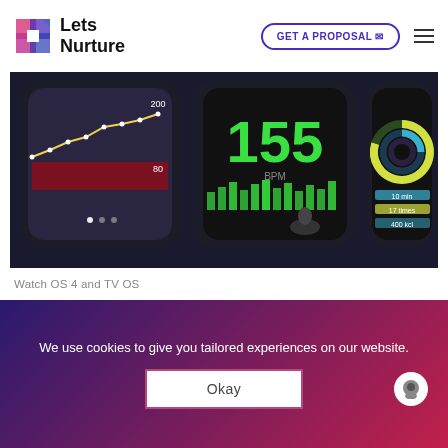[Figure (logo): Lets Nurture logo with colorful geometric icon and text]
[Figure (screenshot): Apple Watch display showing watchOS 4 features including health tracking charts, heart rate 155, and activity rings, with presenter on stage]
Watch OS 4 and TV OS
Apple demonstrated changes to the OS for the Apple Watch including a new watch face that uses Siri to suggest directions and show calendar items. The most substantial changes focused on
We use cookies to give you tailored experiences on our website.